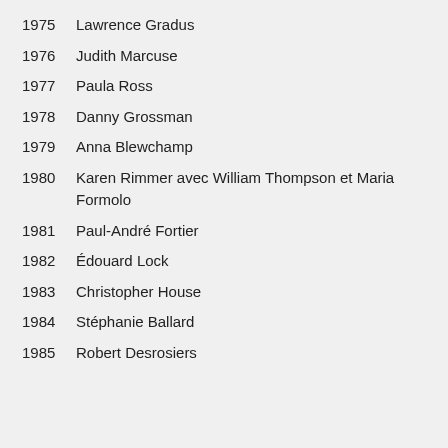1975  Lawrence Gradus
1976  Judith Marcuse
1977  Paula Ross
1978  Danny Grossman
1979  Anna Blewchamp
1980  Karen Rimmer avec William Thompson et Maria Formolo
1981  Paul-André Fortier
1982  Édouard Lock
1983  Christopher House
1984  Stéphanie Ballard
1985  Robert Desrosiers